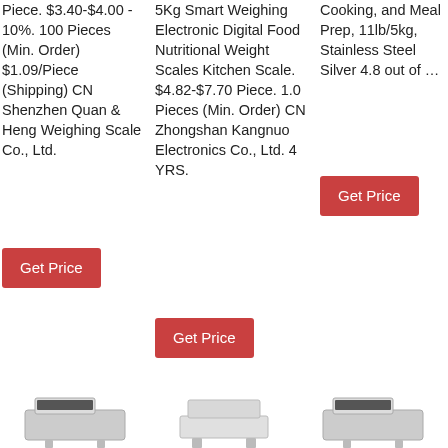Piece. $3.40-$4.00 - 10%. 100 Pieces (Min. Order) $1.09/Piece (Shipping) CN Shenzhen Quan & Heng Weighing Scale Co., Ltd.
Get Price
5Kg Smart Weighing Electronic Digital Food Nutritional Weight Scales Kitchen Scale. $4.82-$7.70 Piece. 1.0 Pieces (Min. Order) CN Zhongshan Kangnuo Electronics Co., Ltd. 4 YRS.
Get Price
Cooking, and Meal Prep, 11lb/5kg, Stainless Steel Silver 4.8 out of …
Get Price
[Figure (photo): Three product images of kitchen weighing scales at the bottom of the page]